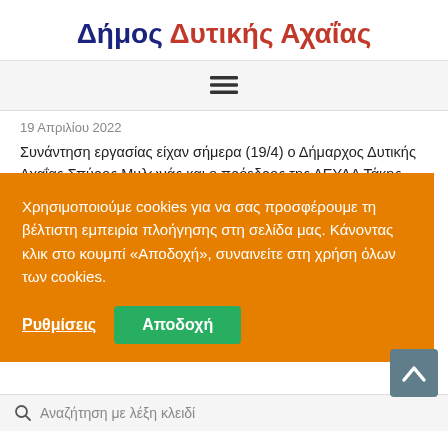Δήμος Δυτικής Αχαΐας
[Figure (other): Hamburger menu icon (three horizontal lines)]
19 Απριλίου 2022
Συνάντηση εργασίας είχαν σήμερα (19/4) ο Δήμαρχος Δυτικής Αχαΐας Σπύρος Μυλωνάς και ο πρόεδρος της ΔΕΥΑΔ Τάκης Κουνάβης με τους
άν στίβου στο
Χρησιμοποιούμε cookies για να σας προσφέρουμε τη βέλτιστη εμπειρία πλοήγησης στη σελίδα μας. Κάνοντας κλικ στο κουμπί «Αποδοχή», συναινείτε στη χρήση όλων των cookies.
Ρυθμίσεις
Αποδοχή
Αναζήτηση με λέξη κλειδί